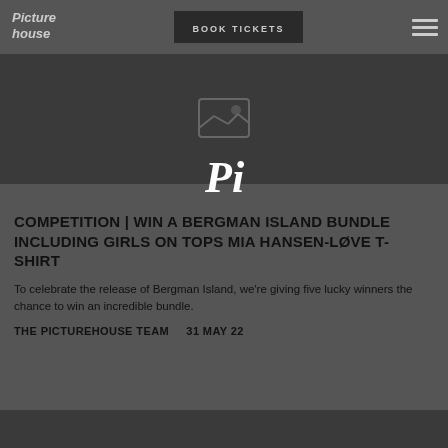[Figure (logo): Picturehouse logo in stylized handwritten font]
BOOK TICKETS
[Figure (illustration): Hero image placeholder with broken image icon on dark background]
[Figure (logo): Pinterest Pi logo overlay icon in white]
COMPETITION | WIN A BERGMAN ISLAND BUNDLE INCLUDING GIRLS ON TOPS MIA HANSEN-LØVE T-SHIRT
To celebrate the release of Bergman Island, we're giving five lucky winners the chance to win an incredible bundle.
THE PICTUREHOUSE TEAM     31 MAY 22
[Figure (photo): Bottom dark image card beginning to appear at bottom of page]